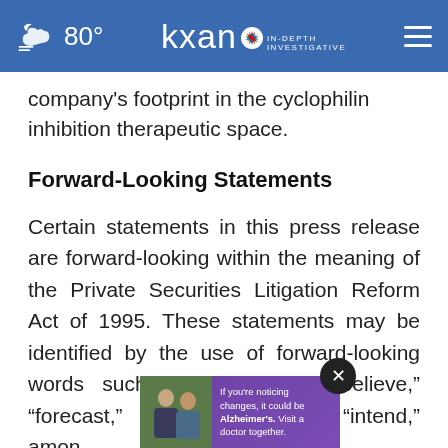80° | KXAN IN-DEPTH INVESTIGATIVE
company's footprint in the cyclophilin inhibition therapeutic space.
Forward-Looking Statements
Certain statements in this press release are forward-looking within the meaning of the Private Securities Litigation Reform Act of 1995. These statements may be identified by the use of forward-looking words such as “anticipate,” “believe,” “forecast,” “estimated,” and “intend,” among other forward-looking statements.
[Figure (other): Advertisement overlay with two men smiling and text reading: If you're noticing changes, it could be Alzheimer's. Visit a doctor together.]